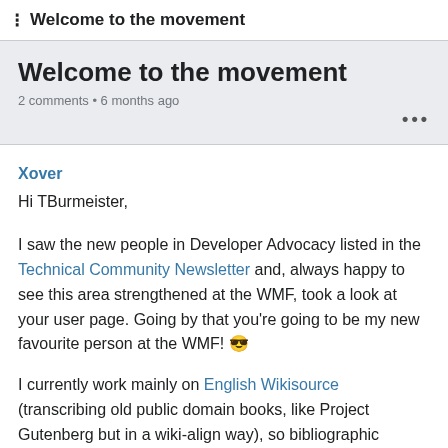Welcome to the movement
Welcome to the movement
2 comments • 6 months ago
Xover
Hi TBurmeister,
I saw the new people in Developer Advocacy listed in the Technical Community Newsletter and, always happy to see this area strengthened at the WMF, took a look at your user page. Going by that you're going to be my new favourite person at the WMF! 😎
I currently work mainly on English Wikisource (transcribing old public domain books, like Project Gutenberg but in a wiki-align way), so bibliographic metadata and bibliography is bread and butter for us. We also try to delegate as much as possible of